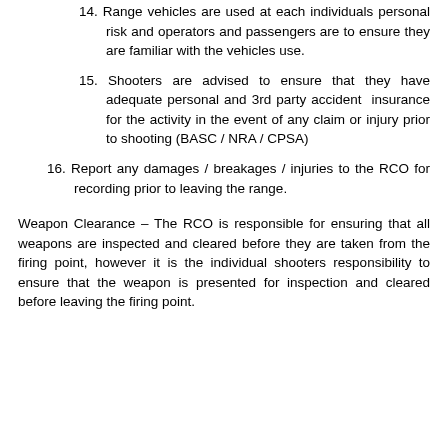14. Range vehicles are used at each individuals personal risk and operators and passengers are to ensure they are familiar with the vehicles use.
15. Shooters are advised to ensure that they have adequate personal and 3rd party accident insurance for the activity in the event of any claim or injury prior to shooting (BASC / NRA / CPSA)
16. Report any damages / breakages / injuries to the RCO for recording prior to leaving the range.
Weapon Clearance – The RCO is responsible for ensuring that all weapons are inspected and cleared before they are taken from the firing point, however it is the individual shooters responsibility to ensure that the weapon is presented for inspection and cleared before leaving the firing point.